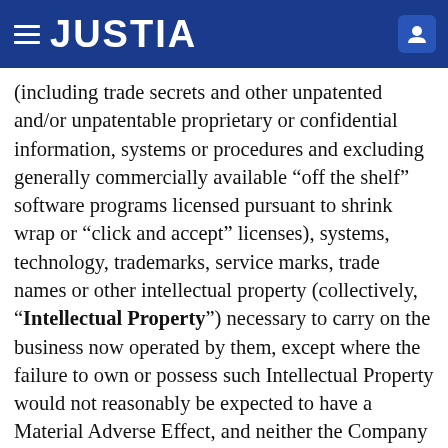JUSTIA
(including trade secrets and other unpatented and/or unpatentable proprietary or confidential information, systems or procedures and excluding generally commercially available “off the shelf” software programs licensed pursuant to shrink wrap or “click and accept” licenses), systems, technology, trademarks, service marks, trade names or other intellectual property (collectively, “Intellectual Property”) necessary to carry on the business now operated by them, except where the failure to own or possess such Intellectual Property would not reasonably be expected to have a Material Adverse Effect, and neither the Company nor any of its Subsidiaries has received any notice or is otherwise aware of any infringement of or conflict with asserted rights of others with respect to any Intellectual Property or of any facts or circumstances which could render any Intellectual Property invalid or inadequate to protect the